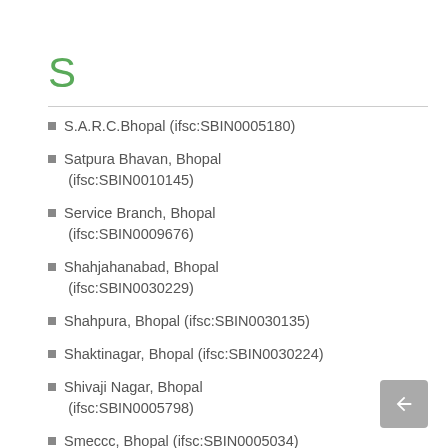S
S.A.R.C.Bhopal (ifsc:SBIN0005180)
Satpura Bhavan, Bhopal (ifsc:SBIN0010145)
Service Branch, Bhopal (ifsc:SBIN0009676)
Shahjahanabad, Bhopal (ifsc:SBIN0030229)
Shahpura, Bhopal (ifsc:SBIN0030135)
Shaktinagar, Bhopal (ifsc:SBIN0030224)
Shivaji Nagar, Bhopal (ifsc:SBIN0005798)
Smeccc, Bhopal (ifsc:SBIN0005034)